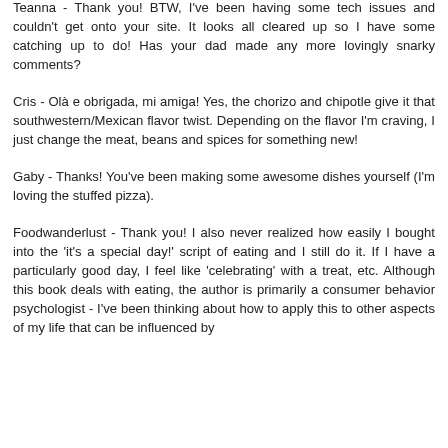prices, and reviews can be intimidating, frankly.
Teanna - Thank you! BTW, I've been having some tech issues and couldn't get onto your site. It looks all cleared up so I have some catching up to do! Has your dad made any more lovingly snarky comments?
Cris - Olà e obrigada, mi amiga! Yes, the chorizo and chipotle give it that southwestern/Mexican flavor twist. Depending on the flavor I'm craving, I just change the meat, beans and spices for something new!
Gaby - Thanks! You've been making some awesome dishes yourself (I'm loving the stuffed pizza).
Foodwanderlust - Thank you! I also never realized how easily I bought into the 'it's a special day!' script of eating and I still do it. If I have a particularly good day, I feel like 'celebrating' with a treat, etc. Although this book deals with eating, the author is primarily a consumer behavior psychologist - I've been thinking about how to apply this to other aspects of my life that can be influenced by